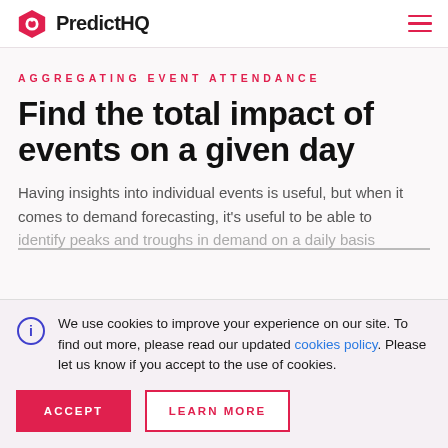PredictHQ
AGGREGATING EVENT ATTENDANCE
Find the total impact of events on a given day
Having insights into individual events is useful, but when it comes to demand forecasting, it's useful to be able to identify peaks and troughs in demand on a daily basis
We use cookies to improve your experience on our site. To find out more, please read our updated cookies policy. Please let us know if you accept to the use of cookies.
ACCEPT
LEARN MORE